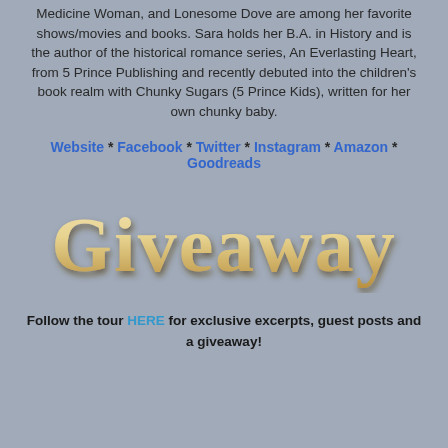Medicine Woman, and Lonesome Dove are among her favorite shows/movies and books. Sara holds her B.A. in History and is the author of the historical romance series, An Everlasting Heart, from 5 Prince Publishing and recently debuted into the children's book realm with Chunky Sugars (5 Prince Kids), written for her own chunky baby.
Website * Facebook * Twitter * Instagram * Amazon * Goodreads
[Figure (other): Stylized decorative text reading 'Giveaway' in large serif font with golden/cream color and shadow effect]
Follow the tour HERE for exclusive excerpts, guest posts and a giveaway!